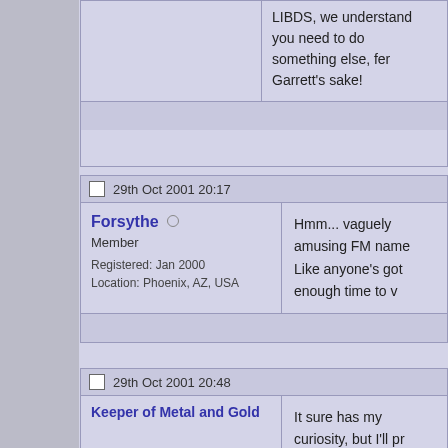LIBDS, we understand you need to do something else, fer Garrett's sake!
29th Oct 2001 20:17
Forsythe
Member
Registered: Jan 2000
Location: Phoenix, AZ, USA
Hmm... vaguely amusing FM name
Like anyone's got enough time to w
29th Oct 2001 20:48
Keeper of Metal and Gold
Taking a break
Registered: Dec 2000
Location: Orem, UT, USA
It sure has my curiosity, but I'll pr
30th Oct 2001 02:12
Agent Monkeysee